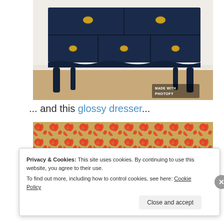[Figure (photo): A navy blue painted antique dresser with ornate dark wood legs and gold hardware, sitting on a hardwood floor. Watermark reads MADE WITH PHOTOFY in bottom right corner.]
... and this glossy dresser...
[Figure (photo): Close-up of a fabric with a coral/red swirling pattern on a tan/gold background, with a glimpse of teal at the bottom edge.]
Privacy & Cookies: This site uses cookies. By continuing to use this website, you agree to their use.
To find out more, including how to control cookies, see here: Cookie Policy
Close and accept